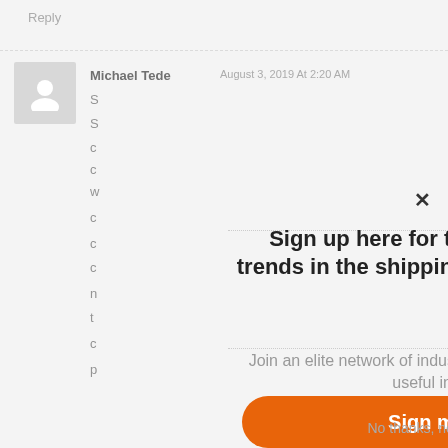Reply
[Figure (screenshot): User avatar placeholder icon (gray silhouette)]
Michael Tede  August 3, 2019 At 2:20 AM
Sign up here for the latest news and trends in the shipping and freight industry
Join an elite network of industry professionals and gain useful insights
Sign me up
No thanks, not right now